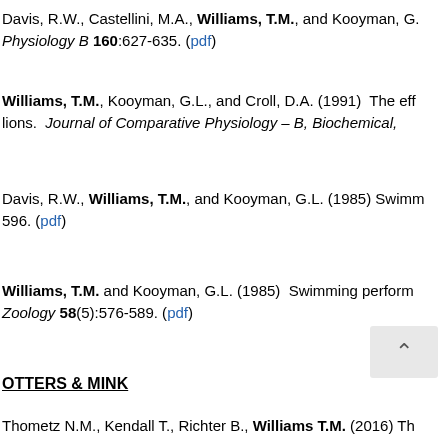Davis, R.W., Castellini, M.A., Williams, T.M., and Kooyman, G.A. Physiology B 160:627-635. (pdf)
Williams, T.M., Kooyman, G.L., and Croll, D.A. (1991) The eff lions. Journal of Comparative Physiology – B, Biochemical,
Davis, R.W., Williams, T.M., and Kooyman, G.L. (1985) Swimm 596. (pdf)
Williams, T.M. and Kooyman, G.L. (1985) Swimming perform Zoology 58(5):576-589. (pdf)
OTTERS & MINK
Thometz N.M., Kendall T., Richter B., Williams T.M. (2016) Th